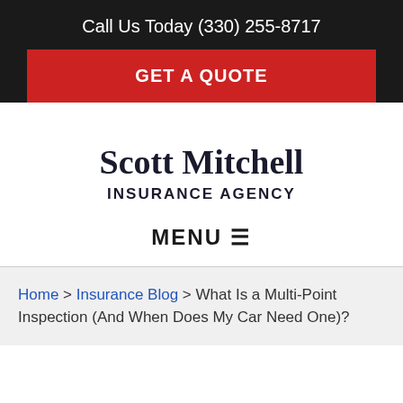Call Us Today (330) 255-8717
GET A QUOTE
Scott Mitchell INSURANCE AGENCY
MENU ☰
Home > Insurance Blog > What Is a Multi-Point Inspection (And When Does My Car Need One)?